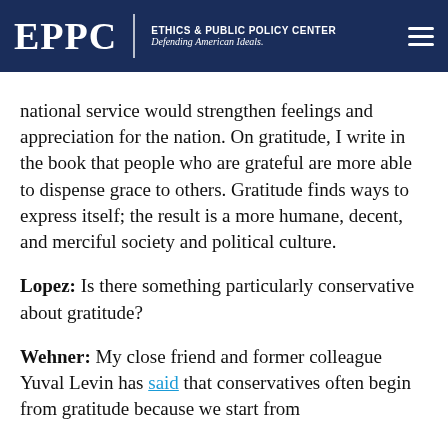EPPC | ETHICS & PUBLIC POLICY CENTER Defending American Ideals.
national service would strengthen feelings and appreciation for the nation. On gratitude, I write in the book that people who are grateful are more able to dispense grace to others. Gratitude finds ways to express itself; the result is a more humane, decent, and merciful society and political culture.
Lopez: Is there something particularly conservative about gratitude?
Wehner: My close friend and former colleague Yuval Levin has said that conservatives often begin from gratitude because we start from